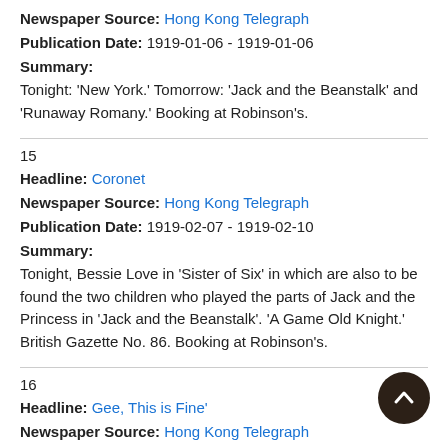Newspaper Source: Hong Kong Telegraph
Publication Date: 1919-01-06 - 1919-01-06
Summary:
Tonight: 'New York.' Tomorrow: 'Jack and the Beanstalk' and 'Runaway Romany.' Booking at Robinson's.
15
Headline: Coronet
Newspaper Source: Hong Kong Telegraph
Publication Date: 1919-02-07 - 1919-02-10
Summary:
Tonight, Bessie Love in 'Sister of Six' in which are also to be found the two children who played the parts of Jack and the Princess in 'Jack and the Beanstalk'. 'A Game Old Knight.' British Gazette No. 86. Booking at Robinson's.
16
Headline: Gee, This is Fine'
Newspaper Source: Hong Kong Telegraph
Publication Date: 1919-08-25 - 1919-08-28